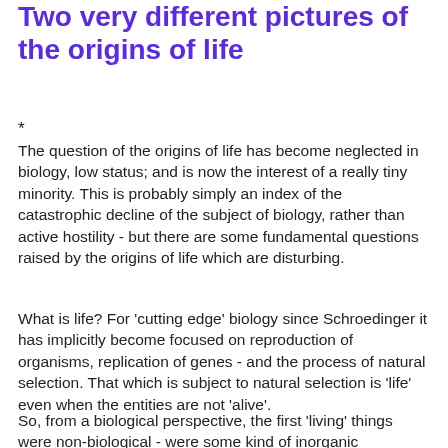Two very different pictures of the origins of life
*
The question of the origins of life has become neglected in biology, low status; and is now the interest of a really tiny minority. This is probably simply an index of the catastrophic decline of the subject of biology, rather than active hostility - but there are some fundamental questions raised by the origins of life which are disturbing.
What is life? For 'cutting edge' biology since Schroedinger it has implicitly become focused on reproduction of organisms, replication of genes - and the process of natural selection. That which is subject to natural selection is 'life' even when the entities are not 'alive'.
So, from a biological perspective, the first 'living' things were non-biological - were some kind of inorganic molecules replicating themselves, transmitting their structure or patterns of interaction to 'offspring' - growing in numbers and spreading by copying or extension of their structures or